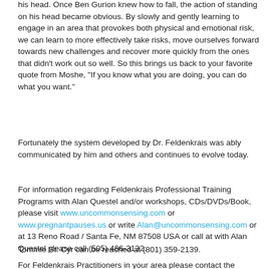his head. Once Ben Gurion knew how to fall, the action of standing on his head became obvious. By slowly and gently learning to engage in an area that provokes both physical and emotional risk, we can learn to more effectively take risks, move ourselves forward towards new challenges and recover more quickly from the ones that didn't work out so well. So this brings us back to your favorite quote from Moshe, "If you know what you are doing, you can do what you want."
Fortunately the system developed by Dr. Feldenkrais was ably communicated by him and others and continues to evolve today.
For information regarding Feldenkrais Professional Training Programs with Alan Questel and/or workshops, CDs/DVDs/Book, please visit www.uncommonsensing.com or www.pregnantpauses.us or write Alan@uncommonsensing.com or at 13 Reno Road / Santa Fe, NM 87508 USA or call at with Alan Questel please call (505) 466-3132.
Tommie St. Cyr can be reached at (801) 359-2139.
For Feldenkrais Practitioners in your area please contact the